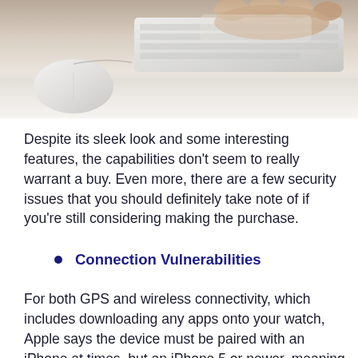[Figure (photo): Close-up photo of hands typing on a white Apple keyboard with a white Apple Magic Mouse on a white desk surface]
Despite its sleek look and some interesting features, the capabilities don't seem to really warrant a buy. Even more, there are a few security issues that you should definitely take note of if you're still considering making the purchase.
Connection Vulnerabilities
For both GPS and wireless connectivity, which includes downloading any apps onto your watch, Apple says the device must be paired with an iPhone at times, but an iPhone 5 or newer, meaning